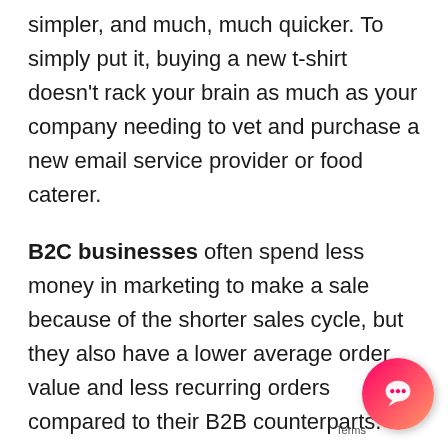simpler, and much, much quicker. To simply put it, buying a new t-shirt doesn't rack your brain as much as your company needing to vet and purchase a new email service provider or food caterer.
B2C businesses often spend less money in marketing to make a sale because of the shorter sales cycle, but they also have a lower average order value and less recurring orders compared to their B2B counterparts.
B2C innovators have leveraged technology like mobile apps, native advertising, and remarketing to market directly to their customers and make their lives easier in the process. For example, using an app like 'Trust-A-Trader' allows consumers to easily